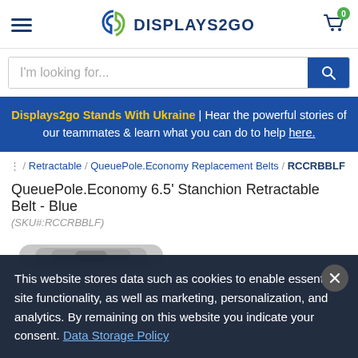Displays2go — Navigation header with hamburger menu, logo, and cart icon (0 items)
I'm looking for... [search field]
Displays2go Stands With Ukraine | Hear the powerful stories of our teammates & learn what you can do to help here.
/ Retractable / QueuePole.Economy Replacement Belts / RCCRBBLF
QueuePole.Economy 6.5' Stanchion Retractable Belt - Blue
(SKU#:RCCRBBLF)
[Figure (photo): Partial product image of a stanchion retractable belt mechanism at bottom of page]
This website stores data such as cookies to enable essential site functionality, as well as marketing, personalization, and analytics. By remaining on this website you indicate your consent. Data Storage Policy